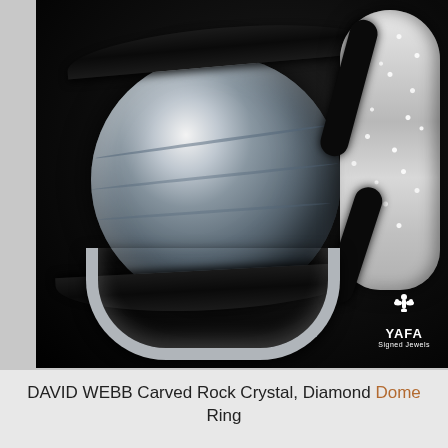[Figure (photo): Product photograph of a DAVID WEBB Carved Rock Crystal Diamond Dome Ring against a black background. The ring features a large transparent carved rock crystal dome center stone, black enamel bands running across the crystal, and a diamond-pavé encrusted band on the right side. The ring shank is visible at the bottom. A YAFA Signed Jewels logo watermark appears in the lower right corner of the photo.]
DAVID WEBB Carved Rock Crystal, Diamond Dome Ring